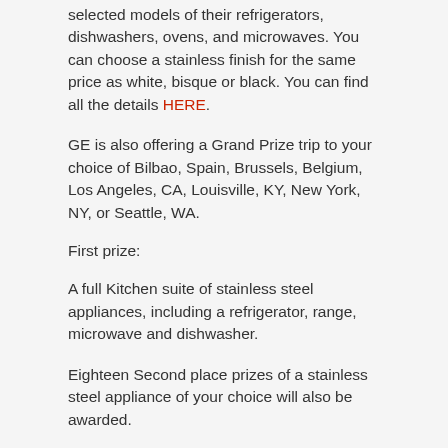selected models of their refrigerators, dishwashers, ovens, and microwaves. You can choose a stainless finish for the same price as white, bisque or black. You can find all the details HERE.
GE is also offering a Grand Prize trip to your choice of Bilbao, Spain, Brussels, Belgium, Los Angeles, CA, Louisville, KY, New York, NY, or Seattle, WA.
First prize:
A full Kitchen suite of stainless steel appliances, including a refrigerator, range, microwave and dishwasher.
Eighteen Second place prizes of a stainless steel appliance of your choice will also be awarded.